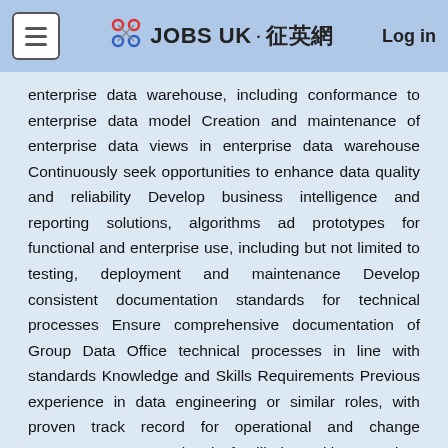JOBS UK·征英網  Log in
enterprise data warehouse, including conformance to enterprise data model Creation and maintenance of enterprise data views in enterprise data warehouse Continuously seek opportunities to enhance data quality and reliability Develop business intelligence and reporting solutions, algorithms ad prototypes for functional and enterprise use, including but not limited to testing, deployment and maintenance Develop consistent documentation standards for technical processes Ensure comprehensive documentation of Group Data Office technical processes in line with standards Knowledge and Skills Requirements Previous experience in data engineering or similar roles, with proven track record for operational and change management Operational familiarity with metadata management, data quality, data stewardship, data protection and experience in the use of associated technologies (data catalog, data quality management platforms) Knowledge of Cloud based big data frameworks such as data lake,